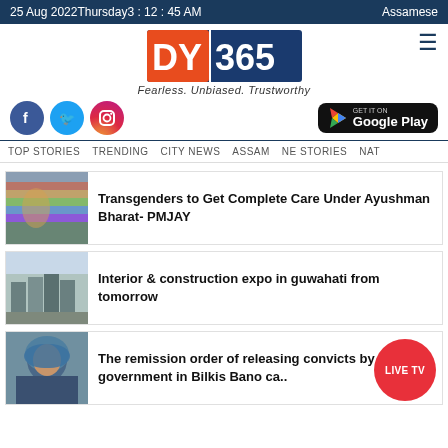25 Aug 2022 Thursday 3 : 12 : 45 AM    Assamese
[Figure (logo): DY365 news channel logo with orange/white/blue text and tagline Fearless. Unbiased. Trustworthy]
[Figure (infographic): Social media icons (Facebook, Twitter, Instagram) and Google Play download button]
TOP STORIES   TRENDING   CITY NEWS   ASSAM   NE STORIES   NAT
[Figure (photo): People waving rainbow pride flag outdoors]
Transgenders to Get Complete Care Under Ayushman Bharat- PMJAY
[Figure (photo): Interior and construction expo venue]
Interior & construction expo in guwahati from tomorrow
[Figure (photo): Woman in blue headscarf, Bilkis Bano]
The remission order of releasing convicts by the state government in Bilkis Bano ca..